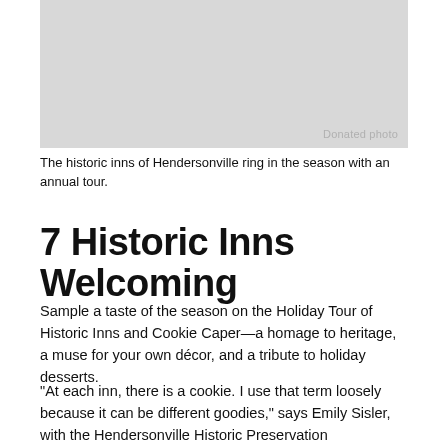[Figure (photo): Gray placeholder photo box with 'Donated photo' watermark in the lower right corner]
The historic inns of Hendersonville ring in the season with an annual tour.
7 Historic Inns Welcoming
Sample a taste of the season on the Holiday Tour of Historic Inns and Cookie Caper—a homage to heritage, a muse for your own décor, and a tribute to holiday desserts.
“At each inn, there is a cookie. I use that term loosely because it can be different goodies,” says Emily Sisler, with the Hendersonville Historic Preservation Commission, which organizes the tour and more. “We offer to provide the